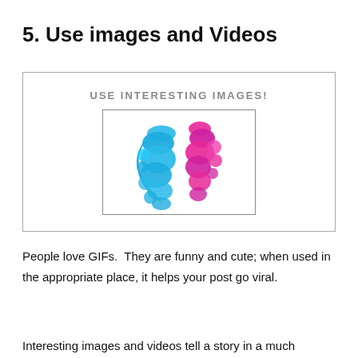5. Use images and Videos
[Figure (illustration): A banner with text 'USE INTERESTING IMAGES!' and below it a framed image of blue and pink ink drops swirling in water on a white background.]
People love GIFs.  They are funny and cute; when used in the appropriate place, it helps your post go viral.
Interesting images and videos tell a story in a much